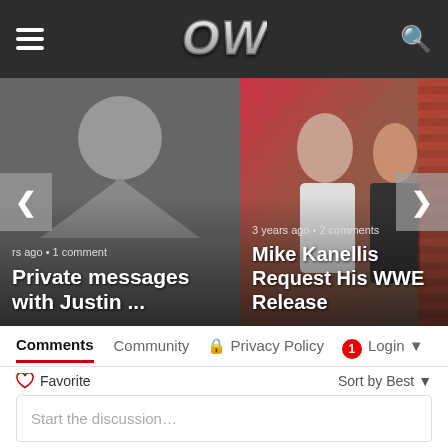OWW navigation header with hamburger menu, OWW logo, and search icon
[Figure (screenshot): Left slider card: grey background with profile avatar placeholder icon, text overlay: 'rs ago • 1 comment' and 'Private messages with Justin ...']
[Figure (screenshot): Middle slider card: photo of man and woman, text overlay: '3 years ago • 2 comments' and 'Mike Kanellis Request His WWE Release']
[Figure (screenshot): Partial right slider card with dark pixelated pattern]
Comments  Community  🔒 Privacy Policy  1  Login ▾
♡ Favorite
Sort by Best ▾
Start the discussion…
LOG IN WITH